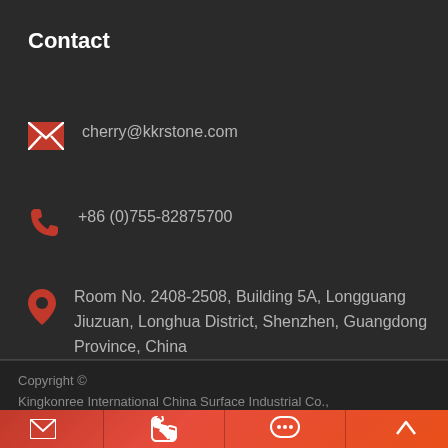Contact
cherry@kkrstone.com
+86 (0)755-82875700
Room No. 2408-2508, Building 5A, Longguang Jiuzuan, Longhua District, Shenzhen, Guangdong Province, China
Copyright © Kingkonree International China Surface Industrial Co., Ltd